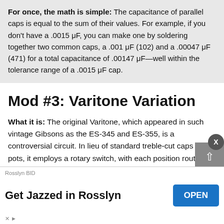For once, the math is simple: The capacitance of parallel caps is equal to the sum of their values. For example, if you don't have a .0015 μF, you can make one by soldering together two common caps, a .001 μF (102) and a .00047 μF (471) for a total capacitance of .00147 μF—well within the tolerance range of a .0015 μF cap.
Mod #3: Varitone Variation
What it is: The original Varitone, which appeared in such vintage Gibsons as the ES-345 and ES-355, is a controversial circuit. In lieu of standard treble-cut caps and pots, it employs a rotary switch, with each position routed through a different-sized capacitor. It also calls for an inductor, which creates a series of notch filters. (In other words, it cuts frequencies above a certain [frequency], and below [certain frequency])